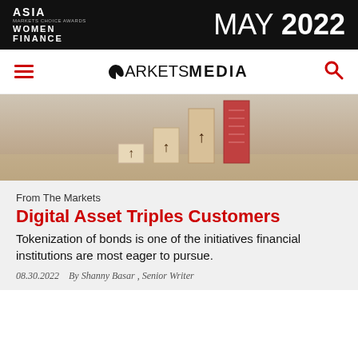[Figure (logo): Asia Women Finance Markets Choice Awards banner — black background with white text 'ASIA WOMEN FINANCE' on the left and 'MAY 2022' in large white text on the right]
MARKETS MEDIA
[Figure (photo): Hero photo showing wooden blocks of increasing height with upward arrows drawn on them, in beige/wood tones with one red block on the right]
From The Markets
Digital Asset Triples Customers
Tokenization of bonds is one of the initiatives financial institutions are most eager to pursue.
08.30.2022   By Shanny Basar , Senior Writer